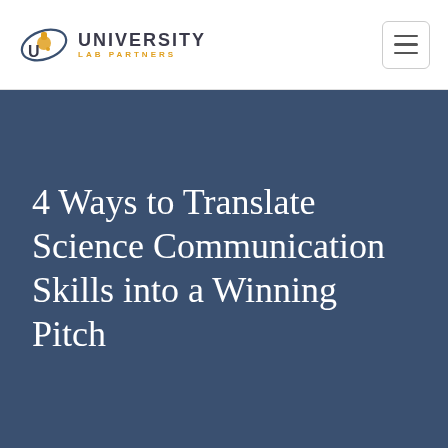ULP UNIVERSITY LAB PARTNERS
4 Ways to Translate Science Communication Skills into a Winning Pitch